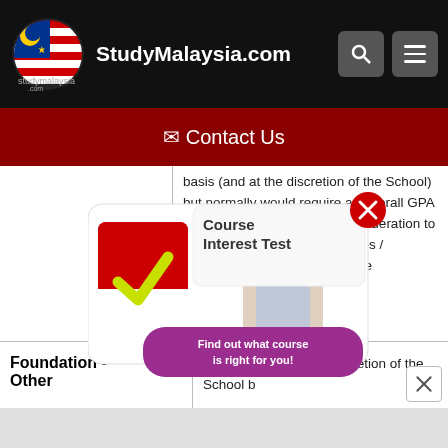StudyMalaysia.com
✉ Contact Us
basis (and at the discretion of the School) but normally would require an overall GPA of 3 (out of 4) or 75% and consideration to be relevant us the pre-requisites / requirements to the programme
| Category | Details |
| --- | --- |
| Foundation - Other | Acceptance is at the discretion of the School b... |
[Figure (infographic): Course Interest Test popup with StudyMalaysia logo checkmark, girl thinking, text 'Course Interest Test - Find out what course is right for you!' with a red X close button]